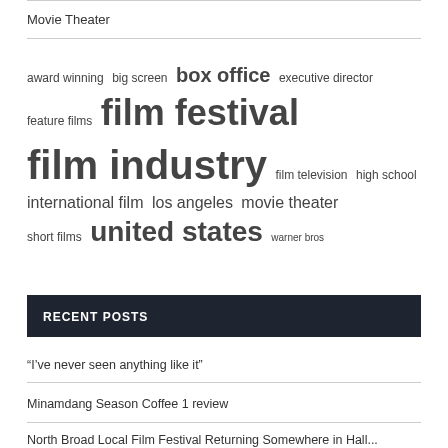Movie Theater
award winning big screen box office executive director feature films film festival film industry film television high school international film los angeles movie theater short films united states warner bros
RECENT POSTS
“I’ve never seen anything like it”
Minamdang Season Coffee 1 review
North Broad Local Film Festival Returning Somewhere in Hall...